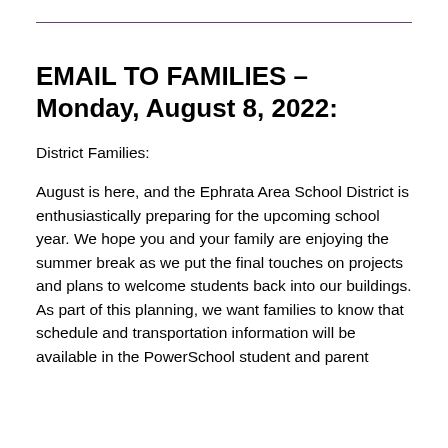EMAIL TO FAMILIES – Monday, August 8, 2022:
District Families:
August is here, and the Ephrata Area School District is enthusiastically preparing for the upcoming school year. We hope you and your family are enjoying the summer break as we put the final touches on projects and plans to welcome students back into our buildings. As part of this planning, we want families to know that schedule and transportation information will be available in the PowerSchool student and parent